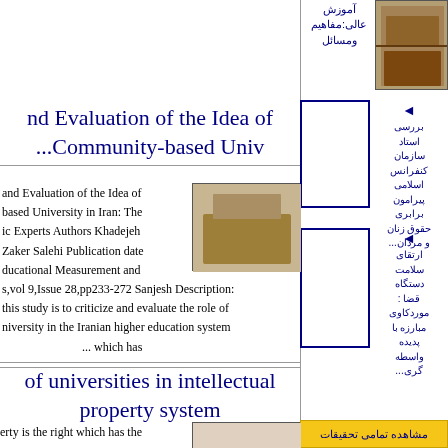آموزش عالی:مفاهیم ومسائل
nd Evaluation of the Idea of ...Community-based Univ
and Evaluation of the Idea of based University in Iran: The ic Experts Authors Khadejeh Zaker Salehi Publication date ducational Measurement and s,vol 9,Issue 28,pp233-272 Sanjesh Description: this study is to criticize and evaluate the role of niversity in the Iranian higher education system ... which has
of universities in intellectual property system
erty is the right which has the
بررسی استاد سازمان کنفرانس اسلامی پیرامون برابری حقوق زنان و مردان...
ارتقای سلامت دستگاه قضا : موردکاوی مبارزه با پدیده واسطه‌گری...
مشاهده تمامی تحقیقات